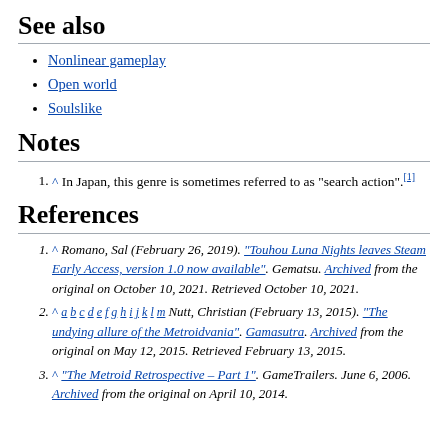See also
Nonlinear gameplay
Open world
Soulslike
Notes
^ In Japan, this genre is sometimes referred to as "search action".[1]
References
^ Romano, Sal (February 26, 2019). "Touhou Luna Nights leaves Steam Early Access, version 1.0 now available". Gematsu. Archived from the original on October 10, 2021. Retrieved October 10, 2021.
^ a b c d e f g h i j k l m Nutt, Christian (February 13, 2015). "The undying allure of the Metroidvania". Gamasutra. Archived from the original on May 12, 2015. Retrieved February 13, 2015.
^ "The Metroid Retrospective – Part 1". GameTrailers. June 6, 2006. Archived from the original on April 10, 2014.